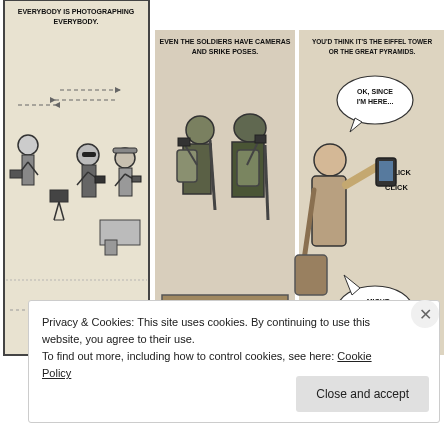[Figure (illustration): Three-panel comic strip. Panel 1: Airport/checkpoint scene with caption 'EVERYBODY IS PHOTOGRAPHING EVERYBODY.' showing people with cameras and dashed arrows. Panel 2: Two soldiers with gear and cameras with caption 'EVEN THE SOLDIERS HAVE CAMERAS AND SRIKE POSES.' Panel 3: Tourist taking selfie with speech bubbles 'OK, SINCE I'M HERE... CLICK CLICK ...MIGHT AS WELL...' and caption 'YOU'D THINK IT'S THE EIFFEL TOWER OR THE GREAT PYRAMIDS.']
[Figure (infographic): Row of six social media sharing icons in circular grey buttons: email (envelope), Twitter (t), RSS (wifi/waves), Goodreads (gr), bell/notification, Pinterest (p)]
Privacy & Cookies: This site uses cookies. By continuing to use this website, you agree to their use. To find out more, including how to control cookies, see here: Cookie Policy
Close and accept